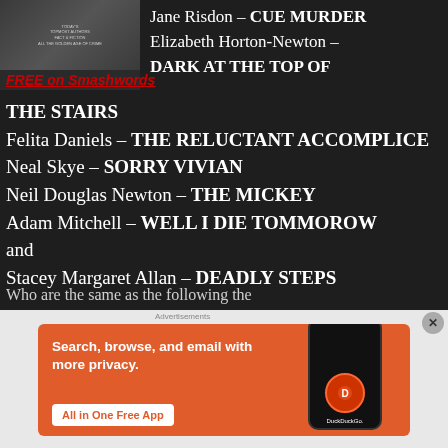[Figure (photo): Book cover image at top left]
FREE on Smashwords
Jane Risdon – CUE MURDER
Elizabeth Horton-Newton – DARK AT THE TOP OF THE STAIRS
Felita Daniels – THE RELUCTANT ACCOMPLICE
Neal Skye – SORRY VIVIAN
Neil Douglas Newton – THE MICKEY
Adam Mitchell – WELL I DIE TOMMOROW and
Stacey Margaret Allan – DEADLY STEPS
Advertisements
[Figure (screenshot): DuckDuckGo advertisement banner: Search, browse, and email with more privacy. All in One Free App. DuckDuckGo.]